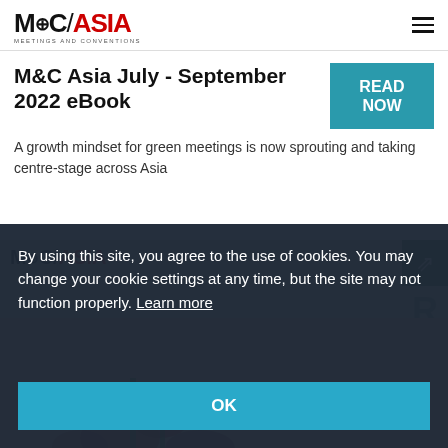MC/ASIA MEETINGS AND CONVENTIONS
M&C Asia July - September 2022 eBook
READ NOW
A growth mindset for green meetings is now sprouting and taking centre-stage across Asia
[Figure (screenshot): Partial M&C Asia logo and magazine cover image with flowers visible in background]
By using this site, you agree to the use of cookies. You may change your cookie settings at any time, but the site may not function properly. Learn more
OK